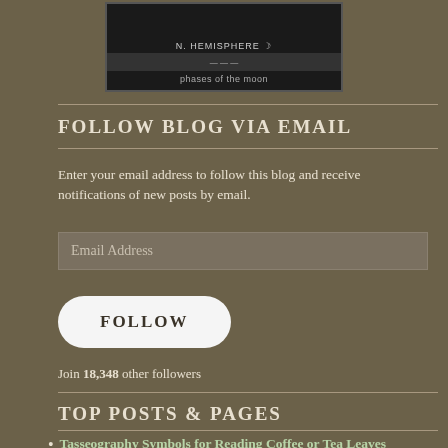[Figure (screenshot): Moon phase widget showing N. HEMISPHERE label and 'phases of the moon' text on dark background]
FOLLOW BLOG VIA EMAIL
Enter your email address to follow this blog and receive notifications of new posts by email.
Email Address
FOLLOW
Join 18,348 other followers
TOP POSTS & PAGES
Tasseography Symbols for Reading Coffee or Tea Leaves